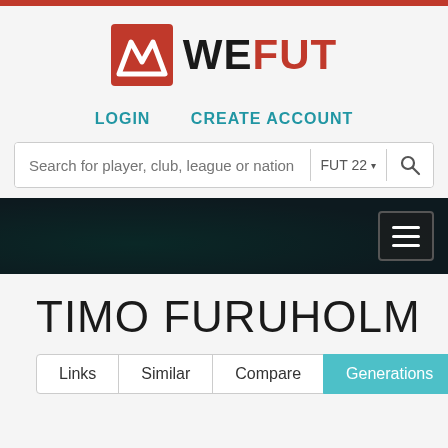[Figure (logo): WEFUT logo with stylized W icon in red/orange square and bold WEFUT text]
LOGIN    CREATE ACCOUNT
Search for player, club, league or nation    FUT 22▾    🔍
[Figure (screenshot): Dark banner with menu hamburger icon]
TIMO FURUHOLM
Links  Similar  Compare  Generations